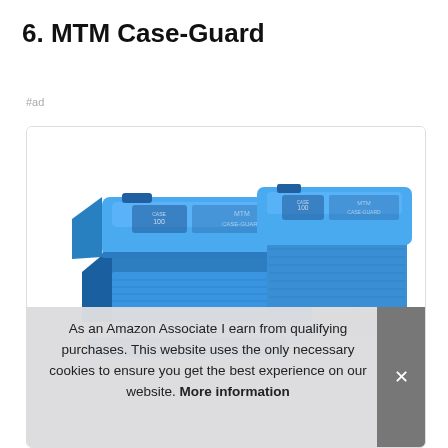6. MTM Case-Guard
#ad
[Figure (photo): Two blue transparent plastic MTM Case-Guard ammunition storage boxes side by side, with ridged lids and snap closures, on a white background inside a rounded-corner bordered container.]
As an Amazon Associate I earn from qualifying purchases. This website uses the only necessary cookies to ensure you get the best experience on our website. More information